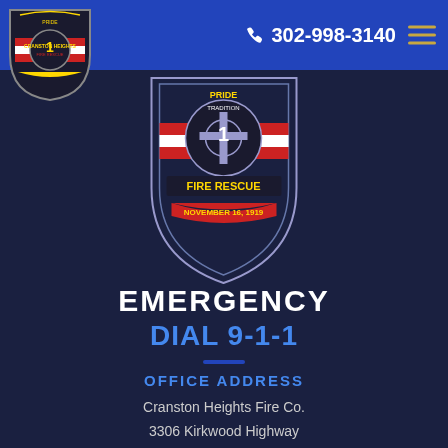302-998-3140
[Figure (logo): Cranston Heights Fire Co. badge/patch logo - top left small]
[Figure (logo): Cranston Heights Fire Rescue badge - large center, PRIDE, TRADITION, NOVEMBER 16, 1919]
EMERGENCY
DIAL 9-1-1
OFFICE ADDRESS
Cranston Heights Fire Co.
3306 Kirkwood Highway
Wilmington, DE 19808
EMAIL US
cranstonheightsfire@gmail.com